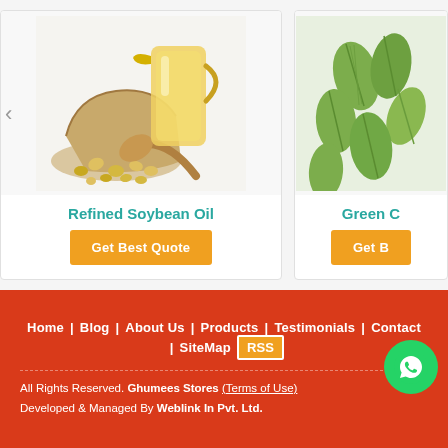[Figure (photo): Refined Soybean Oil product photo — glass jar of yellow oil with burlap sack of soybeans and wooden scoop]
Refined Soybean Oil
Get Best Quote
[Figure (photo): Green Cardamom product photo — pile of green cardamom pods]
Green C
Get B
Home | Blog | About Us | Products | Testimonials | Contact | Site Map RSS
All Rights Reserved. Ghumees Stores (Terms of Use)
Developed & Managed By Weblink In Pvt. Ltd.